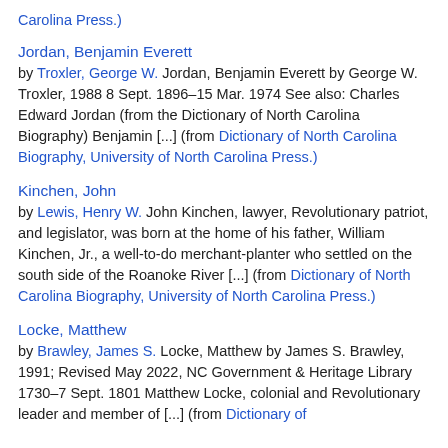Carolina Press.)
Jordan, Benjamin Everett
by Troxler, George W. Jordan, Benjamin Everett by George W. Troxler, 1988 8 Sept. 1896–15 Mar. 1974 See also: Charles Edward Jordan (from the Dictionary of North Carolina Biography) Benjamin [...] (from Dictionary of North Carolina Biography, University of North Carolina Press.)
Kinchen, John
by Lewis, Henry W. John Kinchen, lawyer, Revolutionary patriot, and legislator, was born at the home of his father, William Kinchen, Jr., a well-to-do merchant-planter who settled on the south side of the Roanoke River [...] (from Dictionary of North Carolina Biography, University of North Carolina Press.)
Locke, Matthew
by Brawley, James S. Locke, Matthew by James S. Brawley, 1991; Revised May 2022, NC Government & Heritage Library  1730–7 Sept. 1801 Matthew Locke, colonial and Revolutionary leader and member of [...] (from Dictionary of